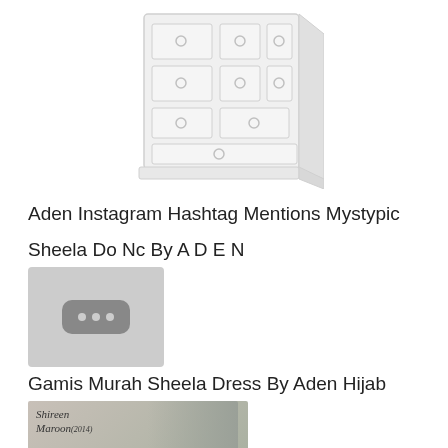[Figure (illustration): White wooden dresser/chest of drawers illustration with ring handles]
Aden Instagram Hashtag Mentions Mystypic
Sheela Do Nc By A D E N
[Figure (photo): Gray placeholder thumbnail with three dots icon]
Gamis Murah Sheela Dress By Aden Hijab
[Figure (photo): Photo of a woman wearing hijab with 'Shireen Maroon' text overlay]